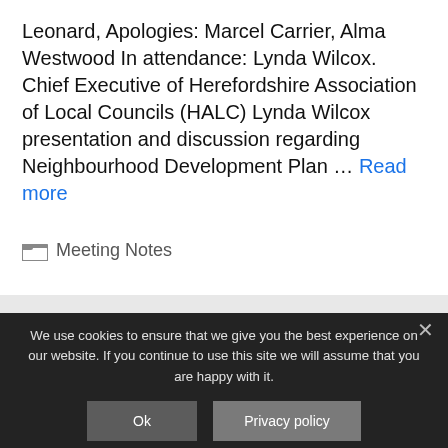Leonard,  Apologies: Marcel Carrier, Alma Westwood In attendance: Lynda Wilcox. Chief Executive of Herefordshire Association of Local Councils (HALC) Lynda Wilcox presentation and discussion regarding Neighbourhood Development Plan … Read more
Meeting Notes
We use cookies to ensure that we give you the best experience on our website. If you continue to use this site we will assume that you are happy with it.